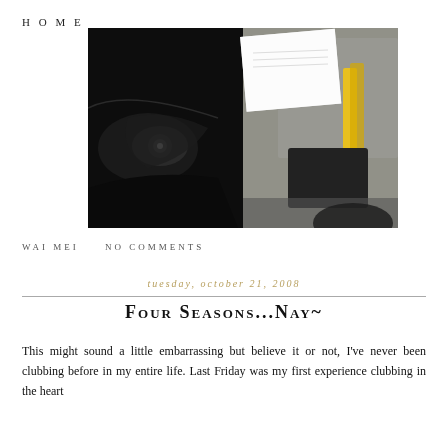HOME
[Figure (photo): Dark photograph showing a car brochure/magazine with a close-up of a car headlight on the left side, and papers/documents with a yellow ribbon on the right side, on a table surface.]
WAI MEI    NO COMMENTS
tuesday, october 21, 2008
FOUR SEASONS...NAY~
This might sound a little embarrassing but believe it or not, I've never been clubbing before in my entire life. Last Friday was my first experience clubbing in the heart